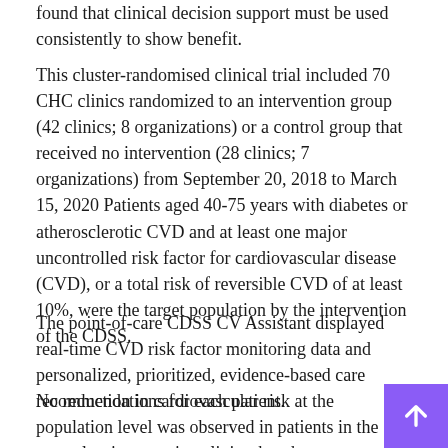found that clinical decision support must be used consistently to show benefit.
This cluster-randomised clinical trial included 70 CHC clinics randomized to an intervention group (42 clinics; 8 organizations) or a control group that received no intervention (28 clinics; 7 organizations) from September 20, 2018 to March 15, 2020 Patients aged 40-75 years with diabetes or atherosclerotic CVD and at least one major uncontrolled risk factor for cardiovascular disease (CVD), or a total risk of reversible CVD of at least 10%, were the target population by the intervention of the CDSS.
The point-of-care CDSS CV Assistant displayed real-time CVD risk factor monitoring data and personalized, prioritized, evidence-based care recommendations for each patient.
No reduction in cardiovascular risk at the population level was observed in patients in the control or intervention clinics, but the mean reversible risk improved significantly in patients in